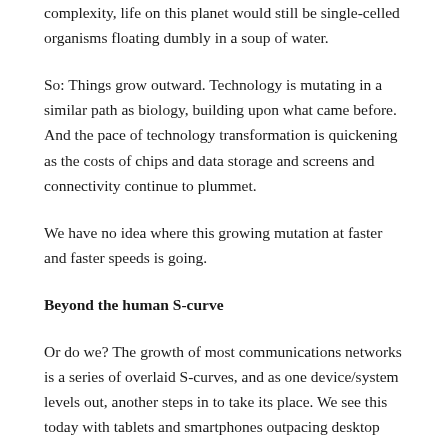complexity, life on this planet would still be single-celled organisms floating dumbly in a soup of water.
So: Things grow outward. Technology is mutating in a similar path as biology, building upon what came before. And the pace of technology transformation is quickening as the costs of chips and data storage and screens and connectivity continue to plummet.
We have no idea where this growing mutation at faster and faster speeds is going.
Beyond the human S-curve
Or do we? The growth of most communications networks is a series of overlaid S-curves, and as one device/system levels out, another steps in to take its place. We see this today with tablets and smartphones outpacing desktop computers, or with rockets outspeeding jets which once beat airplanes. So if we think about the human species as a communications network, we are also starting